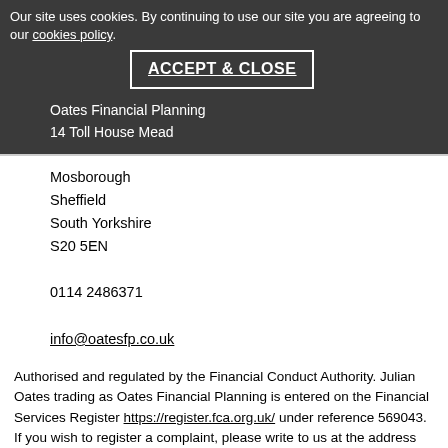Our site uses cookies. By continuing to use our site you are agreeing to our cookies policy.
ACCEPT & CLOSE
Oates Financial Planning
14 Toll House Mead
Mosborough
Sheffield
South Yorkshire
S20 5EN
0114 2486371
info@oatesfp.co.uk
Authorised and regulated by the Financial Conduct Authority. Julian Oates trading as Oates Financial Planning is entered on the Financial Services Register https://register.fca.org.uk/ under reference 569043. If you wish to register a complaint, please write to us at the address above or email us at info@oatesfp.co.uk